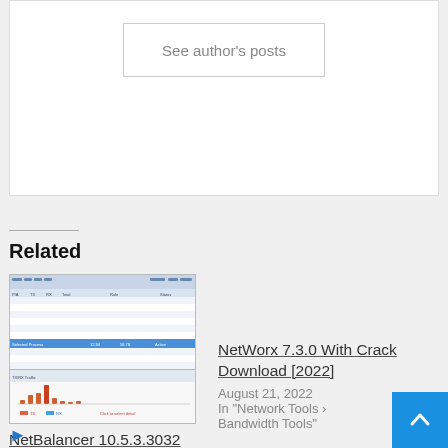See author's posts
Related
[Figure (screenshot): Screenshot of NetBalancer software showing network monitoring interface with tables and a bar chart]
NetBalancer 10.5.3.3032 Crack Download [2022]
August 21, 2022
In "Communication"
NetWorx 7.3.0 With Crack Download [2022]
August 21, 2022
In "Network Tools › Bandwidth Tools"